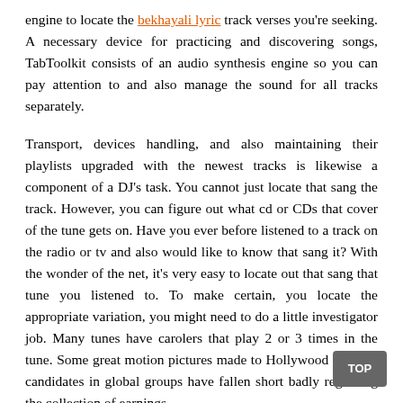engine to locate the bekhayali lyric track verses you're seeking. A necessary device for practicing and discovering songs, TabToolkit consists of an audio synthesis engine so you can pay attention to and also manage the sound for all tracks separately.
Transport, devices handling, and also maintaining their playlists upgraded with the newest tracks is likewise a component of a DJ's task. You cannot just locate that sang the track. However, you can figure out what cd or CDs that cover of the tune gets on. Have you ever before listened to a track on the radio or tv and also would like to know that sang it? With the wonder of the net, it's very easy to locate out that sang that tune you listened to. To make certain, you locate the appropriate variation, you might need to do a little investigator job. Many tunes have carolers that play 2 or 3 times in the tune. Some great motion pictures made to Hollywood as oscar candidates in global groups have fallen short badly regarding the collection of earnings.